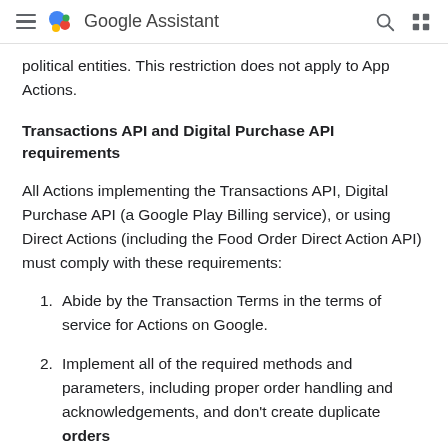Google Assistant
political entities. This restriction does not apply to App Actions.
Transactions API and Digital Purchase API requirements
All Actions implementing the Transactions API, Digital Purchase API (a Google Play Billing service), or using Direct Actions (including the Food Order Direct Action API) must comply with these requirements:
Abide by the Transaction Terms in the terms of service for Actions on Google.
Implement all of the required methods and parameters, including proper order handling and acknowledgements, and don't create duplicate orders